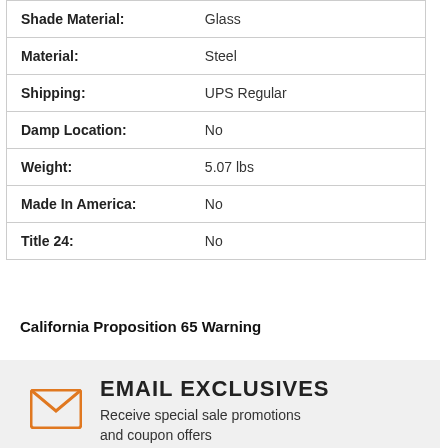| Attribute | Value |
| --- | --- |
| Shade Material: | Glass |
| Material: | Steel |
| Shipping: | UPS Regular |
| Damp Location: | No |
| Weight: | 5.07 lbs |
| Made In America: | No |
| Title 24: | No |
California Proposition 65 Warning
EMAIL EXCLUSIVES
Receive special sale promotions and coupon offers